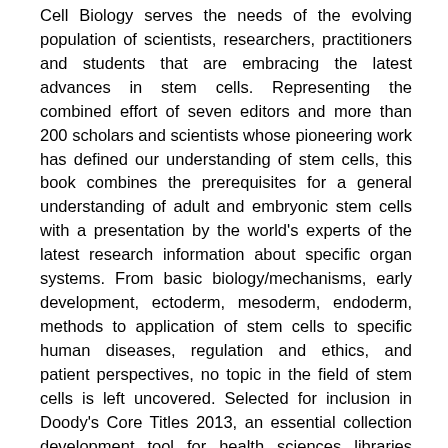Cell Biology serves the needs of the evolving population of scientists, researchers, practitioners and students that are embracing the latest advances in stem cells. Representing the combined effort of seven editors and more than 200 scholars and scientists whose pioneering work has defined our understanding of stem cells, this book combines the prerequisites for a general understanding of adult and embryonic stem cells with a presentation by the world's experts of the latest research information about specific organ systems. From basic biology/mechanisms, early development, ectoderm, mesoderm, endoderm, methods to application of stem cells to specific human diseases, regulation and ethics, and patient perspectives, no topic in the field of stem cells is left uncovered. Selected for inclusion in Doody's Core Titles 2013, an essential collection development tool for health sciences libraries Contributions by Nobel Laureates and leading international investigators Includes two entirely new chapters devoted exclusively to induced pluripotent stem (iPS) cells written by the